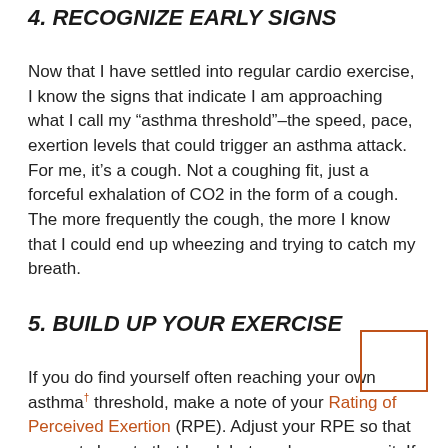4. RECOGNIZE EARLY SIGNS
Now that I have settled into regular cardio exercise, I know the signs that indicate I am approaching what I call my “asthma threshold”–the speed, pace, exertion levels that could trigger an asthma attack. For me, it’s a cough. Not a coughing fit, just a forceful exhalation of CO2 in the form of a cough. The more frequently the cough, the more I know that I could end up wheezing and trying to catch my breath.
5. BUILD UP YOUR EXERCISE
If you do find yourself often reaching your own asthma threshold, make a note of your Rating of Perceived Exertion (RPE). Adjust your RPE so that you get close to that level, but rarely cross over it. If your asthma is triggered when you